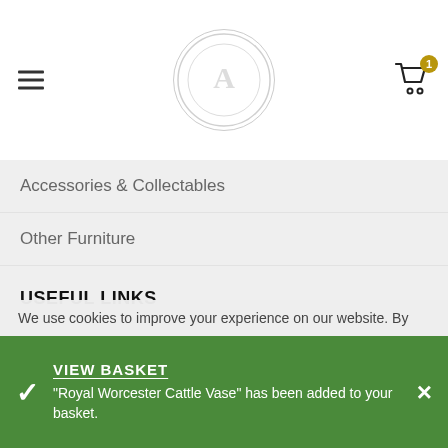Navigation header with hamburger menu, logo, and cart icon (1 item)
Accessories & Collectables
Other Furniture
USEFUL LINKS
Privacy Policy
Contact Us
My Account
We use cookies to improve your experience on our website. By
VIEW BASKET
"Royal Worcester Cattle Vase" has been added to your basket.